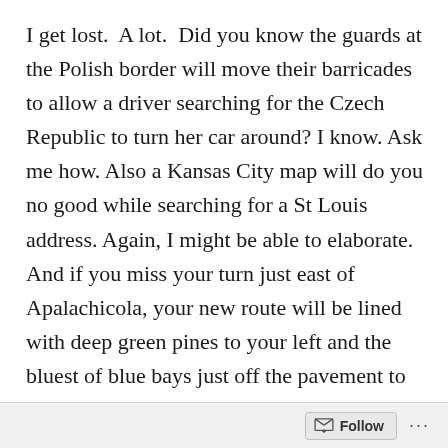I get lost.  A lot.  Did you know the guards at the Polish border will move their barricades to allow a driver searching for the Czech Republic to turn her car around? I know. Ask me how. Also a Kansas City map will do you no good while searching for a St Louis address. Again, I might be able to elaborate. And if you miss your turn just east of Apalachicola, your new route will be lined with deep green pines to your left and the bluest of blue bays just off the pavement to your right.  Unseen life forms, skimming just below the water’s surface, will leave ripples spreading out behind them and behind you as you speed along to a destination totally unknown and
Follow ...